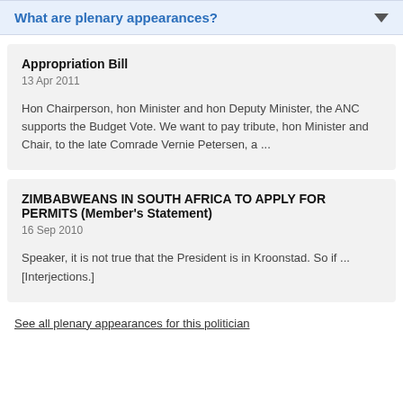What are plenary appearances?
Appropriation Bill
13 Apr 2011
Hon Chairperson, hon Minister and hon Deputy Minister, the ANC supports the Budget Vote. We want to pay tribute, hon Minister and Chair, to the late Comrade Vernie Petersen, a ...
ZIMBABWEANS IN SOUTH AFRICA TO APPLY FOR PERMITS (Member's Statement)
16 Sep 2010
Speaker, it is not true that the President is in Kroonstad. So if ... [Interjections.]
See all plenary appearances for this politician